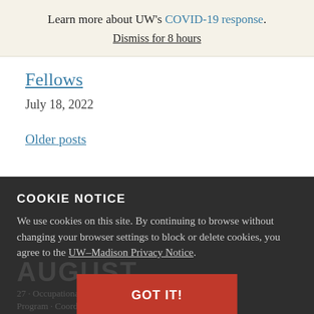Learn more about UW's COVID-19 response. Dismiss for 8 hours
Fellows
July 18, 2022
Older posts
COOKIE NOTICE
We use cookies on this site. By continuing to browse without changing your browser settings to block or delete cookies, you agree to the UW–Madison Privacy Notice.
GOT IT!